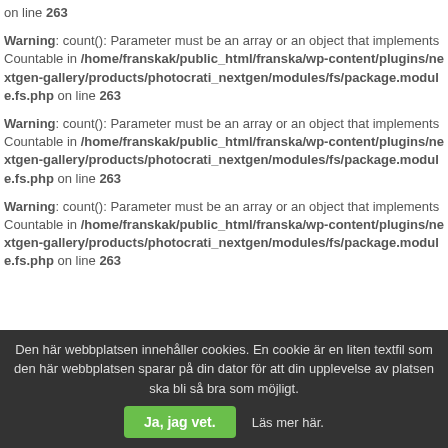on line 263
Warning: count(): Parameter must be an array or an object that implements Countable in /home/franskak/public_html/franska/wp-content/plugins/nextgen-gallery/products/photocrati_nextgen/modules/fs/package.module.fs.php on line 263
Warning: count(): Parameter must be an array or an object that implements Countable in /home/franskak/public_html/franska/wp-content/plugins/nextgen-gallery/products/photocrati_nextgen/modules/fs/package.module.fs.php on line 263
Warning: count(): Parameter must be an array or an object that implements Countable in /home/franskak/public_html/franska/wp-content/plugins/nextgen-gallery/products/photocrati_nextgen/modules/fs/package.module.fs.php on line 263
Den här webbplatsen innehåller cookies. En cookie är en liten textfil som den här webbplatsen sparar på din dator för att din upplevelse av platsen ska bli så bra som möjligt. Ja, jag vet. Läs mer här.